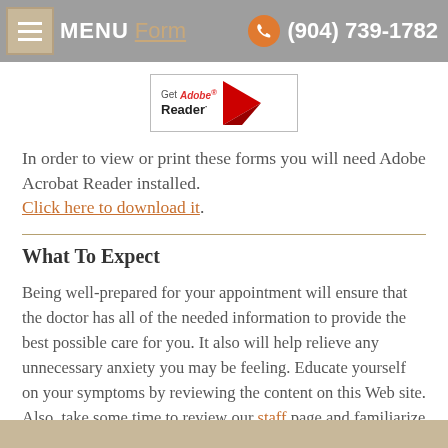MENU Form  (904) 739-1782
[Figure (logo): Get Adobe Reader badge with red arrow logo]
In order to view or print these forms you will need Adobe Acrobat Reader installed. Click here to download it.
What To Expect
Being well-prepared for your appointment will ensure that the doctor has all of the needed information to provide the best possible care for you. It also will help relieve any unnecessary anxiety you may be feeling. Educate yourself on your symptoms by reviewing the content on this Web site. Also, take some time to review our staff page and familiarize yourself with the doctors. We look forward to your first visit.